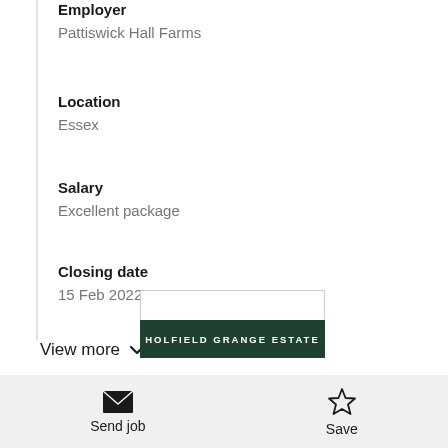Employer
Pattiswick Hall Farms
Location
Essex
Salary
Excellent package
Closing date
15 Feb 2022
View more
[Figure (logo): Holfield Grange Estate logo — white top section, dark green bottom section with text HOLFIELD GRANGE ESTATE in white uppercase letters]
Send job
Save